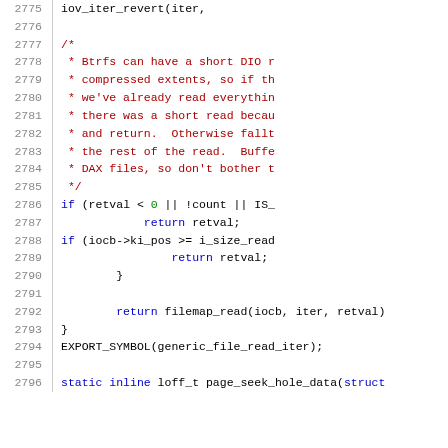[Figure (screenshot): Source code listing showing lines 2775-2796 of a C source file. Line numbers appear in grey on the left. Code uses syntax highlighting: keywords in blue, comments in dark red, identifiers in black. Content includes a block comment about Btrfs short DIO reads, conditional checks on retval and iocb->ki_pos, a return of filemap_read(), EXPORT_SYMBOL macro, and start of static inline loff_t page_seek_hole_data function.]